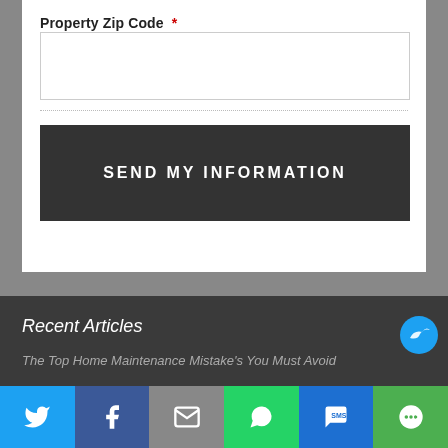Property Zip Code *
SEND MY INFORMATION
Recent Articles
The Top Home Maintenance Mistake's You Must Avoid